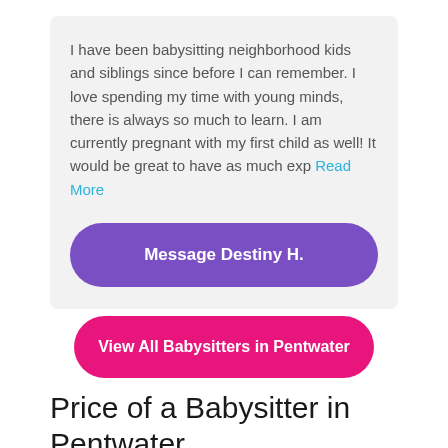I have been babysitting neighborhood kids and siblings since before I can remember. I love spending my time with young minds, there is always so much to learn. I am currently pregnant with my first child as well! It would be great to have as much exp Read More
Message Destiny H.
View All Babysitters in Pentwater
Price of a Babysitter in Pentwater